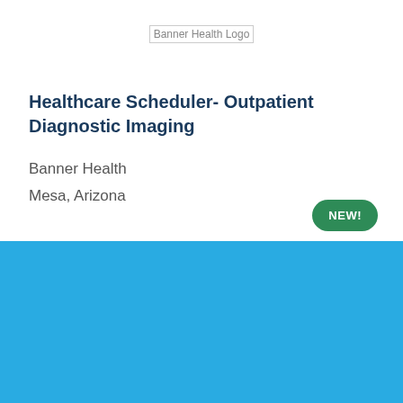[Figure (logo): Banner Health Logo placeholder image]
Healthcare Scheduler- Outpatient Diagnostic Imaging
Banner Health
Mesa, Arizona
NEW!
Cookie Settings
Got it
We use cookies so that we can remember you and understand how you use our site. If you do not agree with our use of cookies, please change the current settings found in our Cookie Policy. Otherwise, you agree to the use of the cookies as they are currently set.